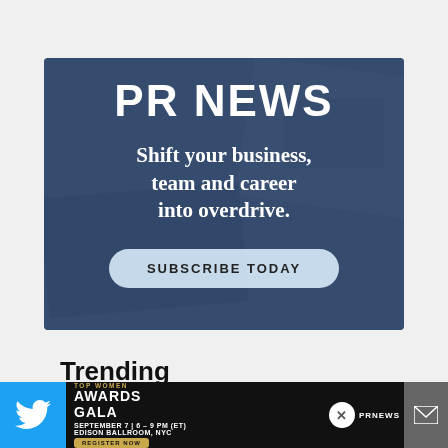[Figure (illustration): PR News advertisement banner with dark blue overlay on newspaper/laptop background. Large white 'PR NEWS' logo at top, tagline 'Shift your business, team and career into overdrive.' in white serif font, and a light blue 'SUBSCRIBE TODAY' pill button.]
Trending
» Discarding Crisis PR Tenets That Were
[Figure (infographic): Bottom bar with Twitter icon on left (blue), event advertisement for 'Top Women Awards Gala' September 7, 6-9 PM ET, Edison Ballroom NYC with Register Now button, close X button, PR News logo, and email icon on right.]